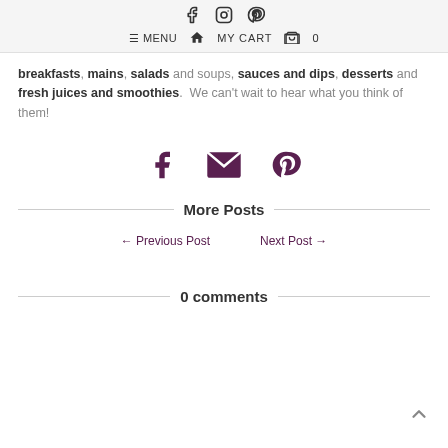Social icons: facebook, instagram, pinterest | MENU | Home | MY CART | 0
breakfasts, mains, salads and soups, sauces and dips, desserts and fresh juices and smoothies.  We can't wait to hear what you think of them!
[Figure (infographic): Share icons: Facebook, Email/envelope, Pinterest]
More Posts
← Previous Post    Next Post →
0 comments